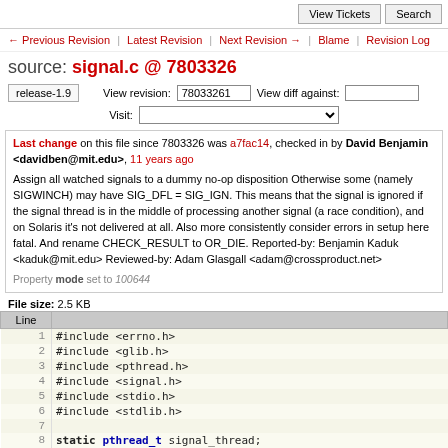View Tickets  Search
← Previous Revision | Latest Revision | Next Revision → | Blame | Revision Log
source: signal.c @ 7803326
release-1.9   View revision: 78033261   View diff against:   Visit:
Last change on this file since 7803326 was a7fac14, checked in by David Benjamin <davidben@mit.edu>, 11 years ago
Assign all watched signals to a dummy no-op disposition Otherwise some (namely SIGWINCH) may have SIG_DFL = SIG_IGN. This means that the signal is ignored if the signal thread is in the middle of processing another signal (a race condition), and on Solaris it's not delivered at all. Also more consistently consider errors in setup here fatal. And rename CHECK_RESULT to OR_DIE. Reported-by: Benjamin Kaduk <kaduk@mit.edu> Reviewed-by: Adam Glasgall <adam@crossproduct.net>
Property mode set to 100644
File size: 2.5 KB
| Line |  |
| --- | --- |
| 1 | #include <errno.h> |
| 2 | #include <glib.h> |
| 3 | #include <pthread.h> |
| 4 | #include <signal.h> |
| 5 | #include <stdio.h> |
| 6 | #include <stdlib.h> |
| 7 |  |
| 8 | static pthread_t signal_thread; |
| 9 | static sigset_t signal_set; |
| 10 |  |
| 11 | static void (*signal_cb)(const siginfo_t*, void*); |
| 12 | static void *signal_cbdata; |